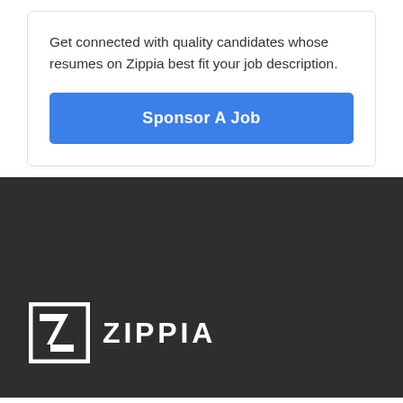Get connected with quality candidates whose resumes on Zippia best fit your job description.
[Figure (other): Blue 'Sponsor A Job' button]
[Figure (logo): Zippia logo with stylized Z icon and ZIPPIA text, white on dark background]